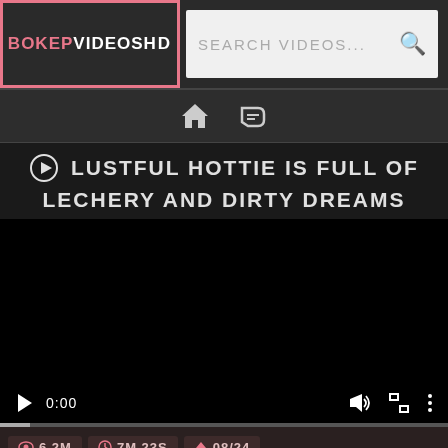BOKEPVIDEOSHD | SEARCH VIDEOS...
[Figure (screenshot): Navigation bar with home and tag icons]
LUSTFUL HOTTIE IS FULL OF LECHERY AND DIRTY DREAMS
[Figure (screenshot): Black video player with controls showing 0:00 timestamp, play button, volume icon, fullscreen icon, and options icon. Progress bar at bottom.]
6.2M views | 7M 23S duration | 08/24